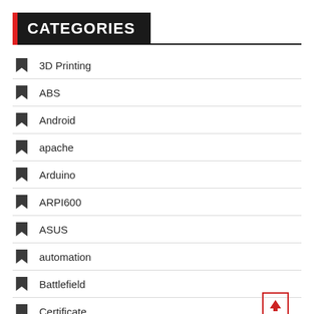CATEGORIES
3D Printing
ABS
Android
apache
Arduino
ARPI600
ASUS
automation
Battlefield
Certificate